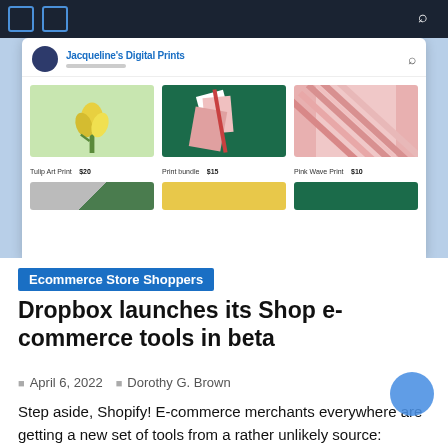[Figure (screenshot): Screenshot of a Dropbox Shop e-commerce interface showing product listings including Tulip Art Print ($20), Print bundle ($15), and Pink Wave Print ($10), displayed within a web browser context with a light blue background.]
Ecommerce Store Shoppers
Dropbox launches its Shop e-commerce tools in beta
April 6, 2022   Dorothy G. Brown
Step aside, Shopify! E-commerce merchants everywhere are getting a new set of tools from a rather unlikely source: Dropbox. The company announced (opens in a new tab) Dropbox Shop in November last year and the suite of seller-